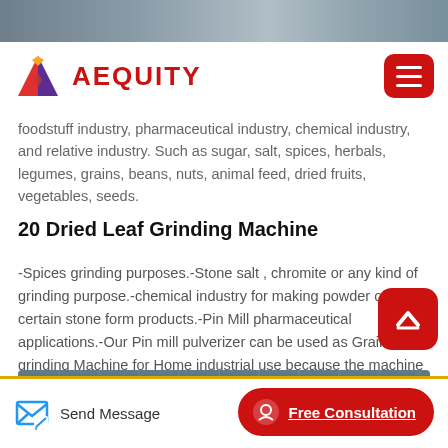[Figure (photo): Top banner image strip showing industrial/manufacturing scene]
[Figure (logo): Aequity logo with geometric red/purple/yellow diamond icon and red AEQUITY wordmark, plus red hamburger menu button]
foodstuff industry, pharmaceutical industry, chemical industry, and relative industry. Such as sugar, salt, spices, herbals, legumes, grains, beans, nuts, animal feed, dried fruits, vegetables, seeds.
20 Dried Leaf Grinding Machine
-Spices grinding purposes.-Stone salt , chromite or any kind of grinding purpose.-chemical industry for making powder of certain stone form products.-Pin Mill pharmaceutical applications.-Our Pin mill pulverizer can be used as Grain grinding Machine for Home industrial use because the machine can be used as multi purpose spice grinding machine.
[Figure (photo): Bottom partial image showing industrial facility interior]
Send Message   Free Consultation